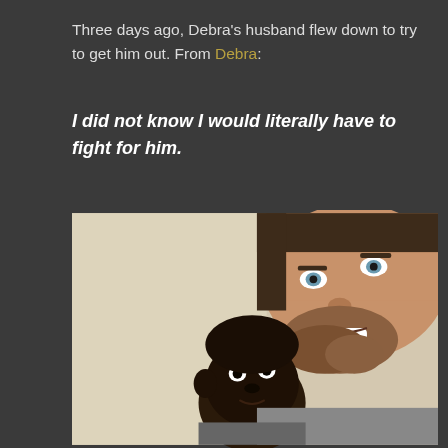Three days ago, Debra's husband flew down to try to get him out. From Debra:
I did not know I would literally have to fight for him.
[Figure (photo): Selfie photo of a smiling bearded white man with blue eyes and a young Black child, taken against a light beige/cream wall. The man is in the upper right portion of the frame, and the child is in the lower center-left area.]